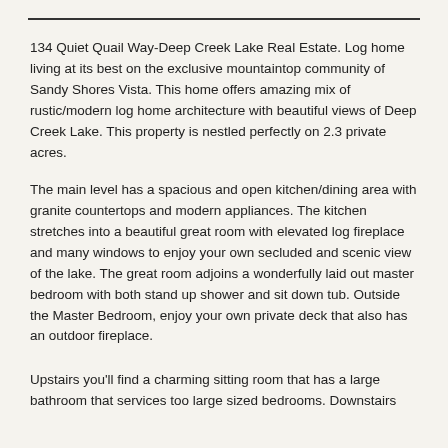134 Quiet Quail Way-Deep Creek Lake Real Estate. Log home living at its best on the exclusive mountaintop community of Sandy Shores Vista. This home offers amazing mix of rustic/modern log home architecture with beautiful views of Deep Creek Lake. This property is nestled perfectly on 2.3 private acres.
The main level has a spacious and open kitchen/dining area with granite countertops and modern appliances. The kitchen stretches into a beautiful great room with elevated log fireplace and many windows to enjoy your own secluded and scenic view of the lake. The great room adjoins a wonderfully laid out master bedroom with both stand up shower and sit down tub. Outside the Master Bedroom, enjoy your own private deck that also has an outdoor fireplace.
Upstairs you'll find a charming sitting room that has a large bathroom that services too large sized bedrooms. Downstairs